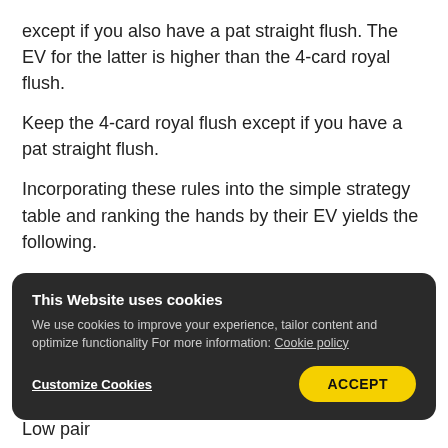except if you also have a pat straight flush. The EV for the latter is higher than the 4-card royal flush.
Keep the 4-card royal flush except if you have a pat straight flush.
Incorporating these rules into the simple strategy table and ranking the hands by their EV yields the following.
SIMPLE PLAYING STRATEGY TABLE
Straight flush
[Figure (screenshot): Cookie consent banner overlay with dark background. Title: 'This Website uses cookies'. Body text: 'We use cookies to improve your experience, tailor content and optimize functionality For more information: Cookie policy'. Buttons: 'Customize Cookies' (underlined link) and 'ACCEPT' (yellow rounded button).]
Low pair